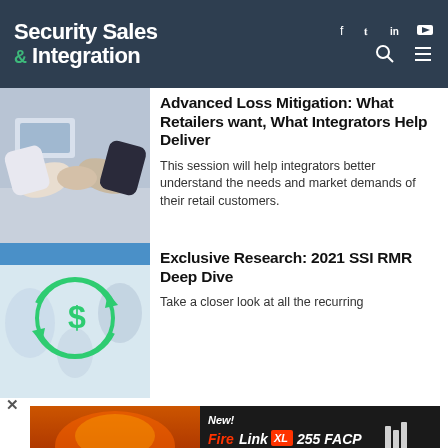Security Sales & Integration
Advanced Loss Mitigation: What Retailers want, What Integrators Help Deliver
This session will help integrators better understand the needs and market demands of their retail customers.
Exclusive Research: 2021 SSI RMR Deep Dive
Take a closer look at all the recurring
[Figure (infographic): Advertisement banner for FireLink XL 255 FACP. Text reads: New! FireLink XL 255 FACP. 255 Pt Addressable FACP with StarLink Cell/IP Built in. Now 2 FireLink FACPs: Conventional up to 32Pts & New XL 255 Addressable Pts. Features firefighters image on left.]